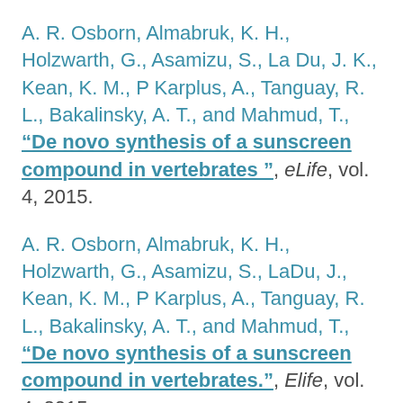A. R. Osborn, Almabruk, K. H., Holzwarth, G., Asamizu, S., La Du, J. K., Kean, K. M., P Karplus, A., Tanguay, R. L., Bakalinsky, A. T., and Mahmud, T., “De novo synthesis of a sunscreen compound in vertebrates ”, eLife, vol. 4, 2015.
A. R. Osborn, Almabruk, K. H., Holzwarth, G., Asamizu, S., LaDu, J., Kean, K. M., P Karplus, A., Tanguay, R. L., Bakalinsky, A. T., and Mahmud, T., “De novo synthesis of a sunscreen compound in vertebrates.”, Elife, vol. 4, 2015.
A. N. Hadduck, Hindagolla, V., Contreras, A. E., Li, Q., and Bakalinsky, A. T., “Does aqueous fullerene inhibit the growth of Saccharomyces cerevisiae or Escherichia coli?”, Appl Environ Microbiol, vol. 76,